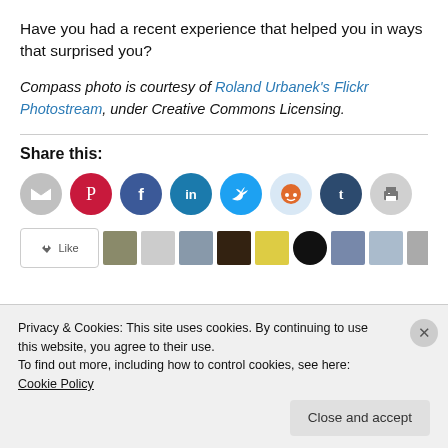Have you had a recent experience that helped you in ways that surprised you?
Compass photo is courtesy of Roland Urbanek's Flickr Photostream, under Creative Commons Licensing.
Share this:
[Figure (infographic): Row of social media sharing icon buttons: email (grey), Pinterest (red), Facebook (blue), LinkedIn (teal), Twitter (blue), Reddit (light blue), Tumblr (dark blue), Print (grey)]
Privacy & Cookies: This site uses cookies. By continuing to use this website, you agree to their use.
To find out more, including how to control cookies, see here: Cookie Policy
Close and accept